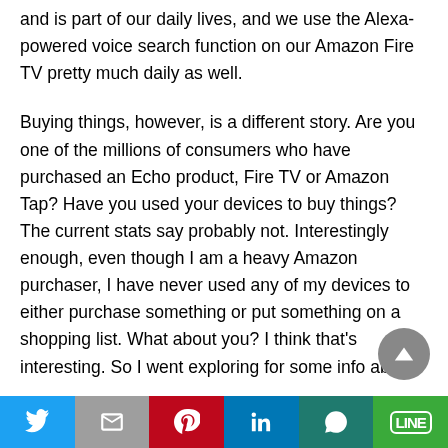and is part of our daily lives, and we use the Alexa-powered voice search function on our Amazon Fire TV pretty much daily as well.
Buying things, however, is a different story. Are you one of the millions of consumers who have purchased an Echo product, Fire TV or Amazon Tap? Have you used your devices to buy things? The current stats say probably not. Interestingly enough, even though I am a heavy Amazon purchaser, I have never used any of my devices to either purchase something or put something on a shopping list. What about you? I think that's interesting. So I went exploring for some info about